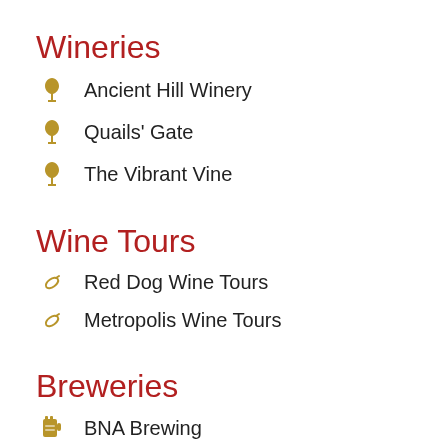Wineries
Ancient Hill Winery
Quails' Gate
The Vibrant Vine
Wine Tours
Red Dog Wine Tours
Metropolis Wine Tours
Breweries
BNA Brewing